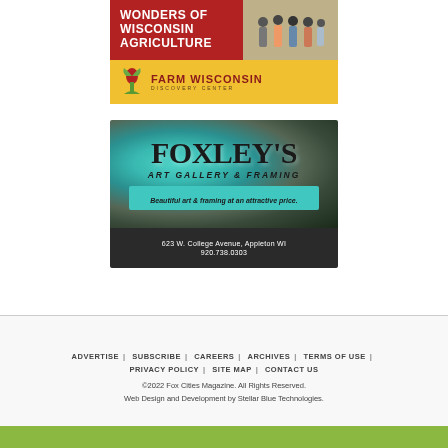[Figure (advertisement): Farm Wisconsin Discovery Center advertisement with red top section showing 'WONDERS OF WISCONSIN AGRICULTURE' text and photo of children, and yellow bottom section with Farm Wisconsin logo]
[Figure (advertisement): Foxley's Art Gallery & Framing advertisement with teal/dark textured background, large bold FOXLEY'S text, 'ART GALLERY & FRAMING' subtitle, tagline 'Beautiful art & framing at an attractive price.' on cyan bar, and address '623 W. College Avenue, Appleton WI 920.738.0303' on dark footer]
ADVERTISE | SUBSCRIBE | CAREERS | ARCHIVES | TERMS OF USE | PRIVACY POLICY | SITE MAP | CONTACT US ©2022 Fox Cities Magazine. All Rights Reserved. Web Design and Development by Stellar Blue Technologies.